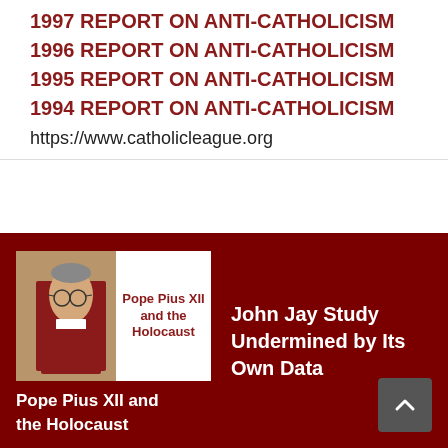1997 REPORT ON ANTI-CATHOLICISM
1996 REPORT ON ANTI-CATHOLICISM
1995 REPORT ON ANTI-CATHOLICISM
1994 REPORT ON ANTI-CATHOLICISM
https://www.catholicleague.org
[Figure (photo): Book cover of 'Pope Pius XII and the Holocaust' showing portrait of Pope Pius XII]
Pope Pius XII and the Holocaust
John Jay Study Undermined by Its Own Data